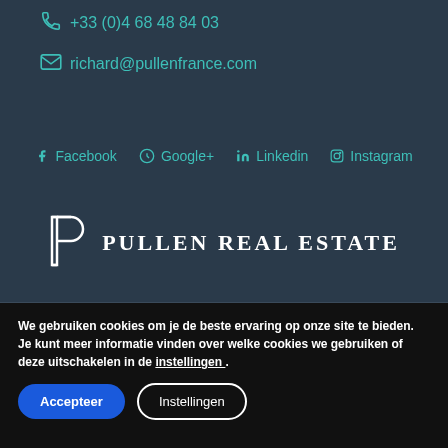+33 (0)4 68 48 84 03
richard@pullenfrance.com
Facebook  Google+  Linkedin  Instagram
[Figure (logo): Pullen Real Estate logo with stylized P icon and text PULLEN REAL ESTATE]
We gebruiken cookies om je de beste ervaring op onze site te bieden.
Je kunt meer informatie vinden over welke cookies we gebruiken of deze uitschakelen in de instellingen .
Accepteer
Instellingen